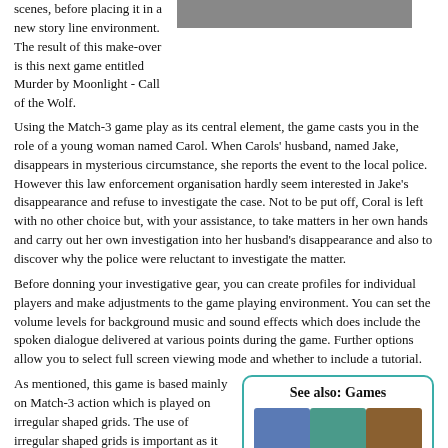scenes, before placing it in a new story line environment.  The result of this make-over is this next game entitled Murder by Moonlight - Call of the Wolf.
[Figure (photo): Game cover art image shown in upper right portion of page]
Using the Match-3 game play as its central element, the game casts you in the role of a young woman named Carol.  When Carols' husband, named Jake, disappears in mysterious circumstance, she reports the event to the local police.  However this law enforcement organisation hardly seem interested in Jake's disappearance and refuse to investigate the case.  Not to be put off, Coral is left with no other choice but, with your assistance, to take matters in her own hands and carry out her own investigation into her husband's disappearance and also to discover why the police were reluctant to investigate the matter.
Before donning your investigative gear, you can create profiles for individual players and make adjustments to the game playing environment.  You can set the volume levels for background music and sound effects which does include the spoken dialogue delivered at various points during the game.  Further options allow you to select full screen viewing mode and whether to include a tutorial.
As mentioned, this game is based mainly on Match-3 action which is played on irregular shaped grids.  The use of irregular shaped grids is important as it allows the game's developers to position
[Figure (illustration): See also: Games sidebar showing game cover thumbnails in a teal-bordered box. Title: See also: Games. Three game cover images in top row, three partial game cover images in bottom row.]